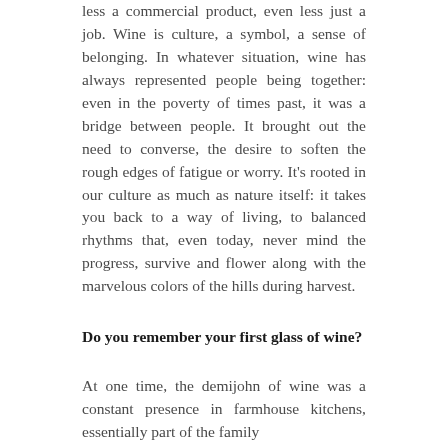less a commercial product, even less just a job. Wine is culture, a symbol, a sense of belonging. In whatever situation, wine has always represented people being together: even in the poverty of times past, it was a bridge between people. It brought out the need to converse, the desire to soften the rough edges of fatigue or worry. It's rooted in our culture as much as nature itself: it takes you back to a way of living, to balanced rhythms that, even today, never mind the progress, survive and flower along with the marvelous colors of the hills during harvest.
Do you remember your first glass of wine?
At one time, the demijohn of wine was a constant presence in farmhouse kitchens, essentially part of the family...